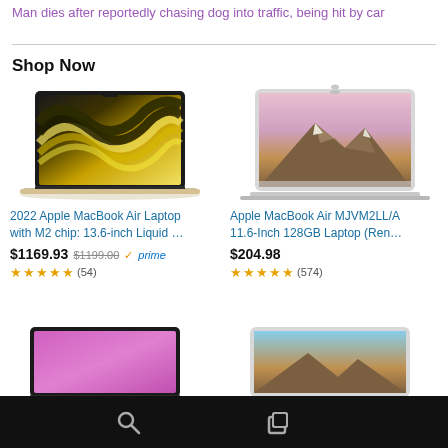Man dies after reportedly chasing dog into traffic, being hit by car
Shop Now
[Figure (photo): 2022 Apple MacBook Air with M2 chip showing abstract colorful wave wallpaper, gold/starlight color, angled view]
2022 Apple MacBook Air Laptop with M2 chip: 13.6-inch Liquid …
$1169.93 $1199.00 ✓prime
★★★★½ (54)
[Figure (photo): Apple MacBook Air MJVM2LL/A 11.6-inch silver laptop showing El Capitan mountain wallpaper, angled view]
Apple MacBook Air MJVM2LL/A 11.6-Inch 128GB Laptop (Ren…
$204.98
★★★★½ (574)
[Figure (photo): Laptop with pink/purple wallpaper, partial view at bottom]
[Figure (photo): Silver laptop with mountain wallpaper, partial view at bottom]
Navigation bar with search and copy icons